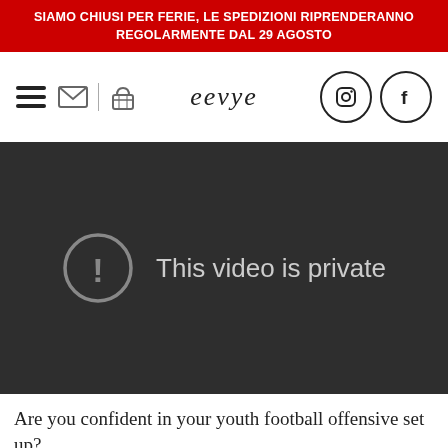SIAMO CHIUSI PER FERIE, LE SPEDIZIONI RIPRENDERANNO REGOLARMENTE DAL 29 AGOSTO
[Figure (screenshot): Website navigation bar with hamburger menu, email icon, basket icon, eevye logo in center, and Instagram and Facebook social media icons on the right]
[Figure (screenshot): Dark YouTube video embed showing 'This video is private' error message with exclamation mark icon]
Are you confident in your youth football offensive set up?